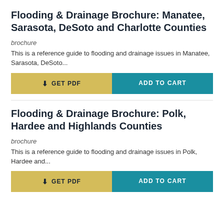Flooding & Drainage Brochure: Manatee, Sarasota, DeSoto and Charlotte Counties
brochure
This is a reference guide to flooding and drainage issues in Manatee, Sarasota, DeSoto...
Flooding & Drainage Brochure: Polk, Hardee and Highlands Counties
brochure
This is a reference guide to flooding and drainage issues in Polk, Hardee and...